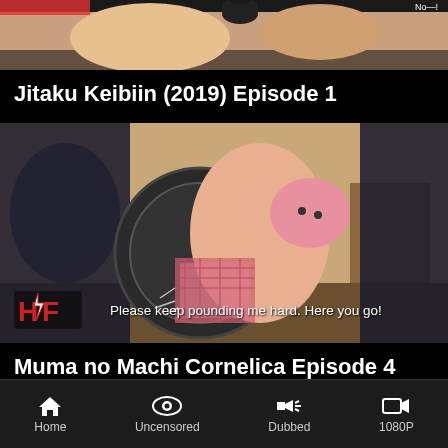[Figure (screenshot): Top portion of anime screenshot showing characters, partially cropped]
Jitaku Keibiin (2019) Episode 1
[Figure (screenshot): Anime screenshot with pixelated/censored content and subtitle text: Please keep pounding me hard. Here you go!]
Muma no Machi Cornelica Episode 4
Home   Uncensored   Dubbed   1080P